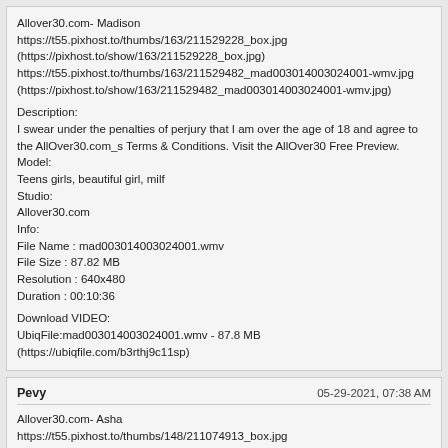Allover30.com- Madison
https://t55.pixhost.to/thumbs/163/211529228_box.jpg
(https://pixhost.to/show/163/211529228_box.jpg)
https://t55.pixhost.to/thumbs/163/211529482_mad003014003024001-wmv.jpg
(https://pixhost.to/show/163/211529482_mad003014003024001-wmv.jpg)

Description:
I swear under the penalties of perjury that I am over the age of 18 and agree to the AllOver30.com_s Terms & Conditions. Visit the AllOver30 Free Preview.
Model:
Teens girls, beautiful girl, milf
Studio:
Allover30.com
Info:
File Name : mad003014003024001.wmv
File Size : 87.82 MB
Resolution : 640x480
Duration : 00:10:36

Download VIDEO:
UbiqFile:mad003014003024001.wmv - 87.8 MB
(https://ubiqfile.com/b3rthj9c11sp)
Pevy	05-29-2021, 07:38 AM
Allover30.com- Asha
https://t55.pixhost.to/thumbs/148/211074913_box.jpg
(https://pixhost.to/show/148/211074913_box.jpg)
https://t55.pixhost.to/thumbs/148/211075524_ash002011001697001-wmv.jpg
(https://pixhost.to/show/148/211075524_ash002011001697001-wmv.jpg)

Description:
I swear under the penalties of perjury that I am over the age of 18 and agree to the AllOver30.com_s Terms & Conditions. Visit the AllOver30 Free Preview.
Model:
Teens girls, beautiful girl, milf